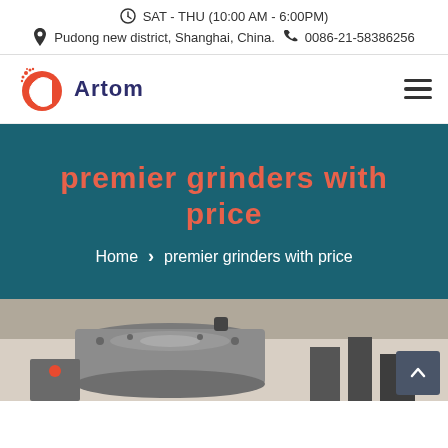SAT - THU (10:00 AM - 6:00PM)
Pudong new district, Shanghai, China.  0086-21-58386256
[Figure (logo): Artom company logo with red circular C icon and dark blue text 'Artom']
premier grinders with price
Home > premier grinders with price
[Figure (photo): Industrial grinding equipment photographed from above, showing metal machinery components]